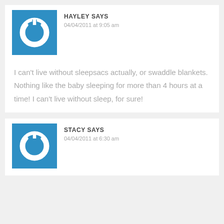[Figure (illustration): Blue square avatar with white power button icon - Hayley]
HAYLEY SAYS
04/04/2011 at 9:05 am
I can't live without sleepsacs actually, or swaddle blankets. Nothing like the baby sleeping for more than 4 hours at a time! I can't live without sleep, for sure!
[Figure (illustration): Blue square avatar with white power button icon - Stacy]
STACY SAYS
04/04/2011 at 6:30 am